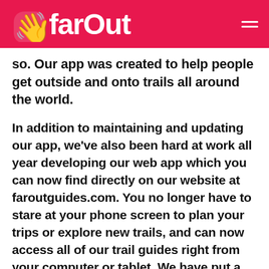FarOut
so. Our app was created to help people get outside and onto trails all around the world.
In addition to maintaining and updating our app, we've also been hard at work all year developing our web app which you can now find directly on our website at faroutguides.com. You no longer have to stare at your phone screen to plan your trips or explore new trails, and can now access all of our trail guides right from your computer or tablet. We have put a ton of work into developing our web app and are so excited to finally share it with the world. And more importantly, our customers who have been asking us for one for years!